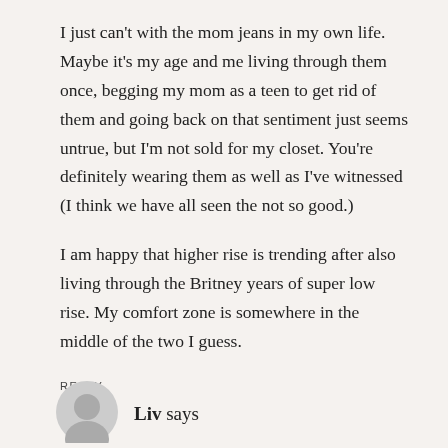I just can't with the mom jeans in my own life. Maybe it's my age and me living through them once, begging my mom as a teen to get rid of them and going back on that sentiment just seems untrue, but I'm not sold for my closet. You're definitely wearing them as well as I've witnessed (I think we have all seen the not so good.)
I am happy that higher rise is trending after also living through the Britney years of super low rise. My comfort zone is somewhere in the middle of the two I guess.
REPLY
Liv says